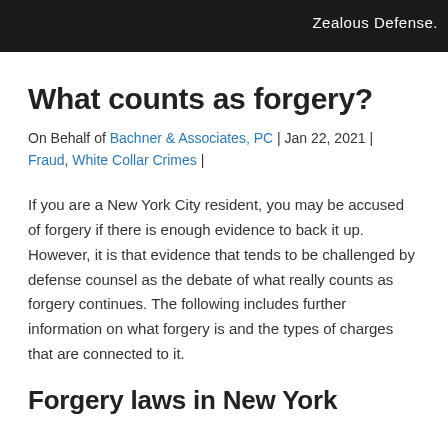[Figure (photo): Dark header banner with partial text reading 'Zealous Defense.' in white on a dark background with an indistinct background image.]
What counts as forgery?
On Behalf of Bachner & Associates, PC | Jan 22, 2021 | Fraud, White Collar Crimes |
If you are a New York City resident, you may be accused of forgery if there is enough evidence to back it up. However, it is that evidence that tends to be challenged by defense counsel as the debate of what really counts as forgery continues. The following includes further information on what forgery is and the types of charges that are connected to it.
Forgery laws in New York